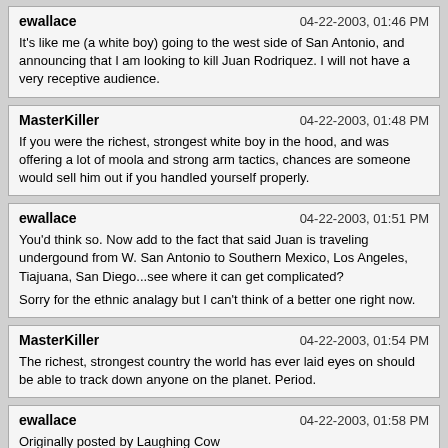ewallace | 04-22-2003, 01:46 PM
It's like me (a white boy) going to the west side of San Antonio, and announcing that I am looking to kill Juan Rodriquez. I will not have a very receptive audience.
MasterKiller | 04-22-2003, 01:48 PM
If you were the richest, strongest white boy in the hood, and was offering a lot of moola and strong arm tactics, chances are someone would sell him out if you handled yourself properly.
ewallace | 04-22-2003, 01:51 PM
You'd think so. Now add to the fact that said Juan is traveling undergound from W. San Antonio to Southern Mexico, Los Angeles, Tiajuana, San Diego...see where it can get complicated?

Sorry for the ethnic analagy but I can't think of a better one right now.
MasterKiller | 04-22-2003, 01:54 PM
The richest, strongest country the world has ever laid eyes on should be able to track down anyone on the planet. Period.
ewallace | 04-22-2003, 01:58 PM
Originally posted by Laughing Cow

Many countries are not happy with the iraq war, as they now don't seem to get paid what Iraq owed them.

Example: